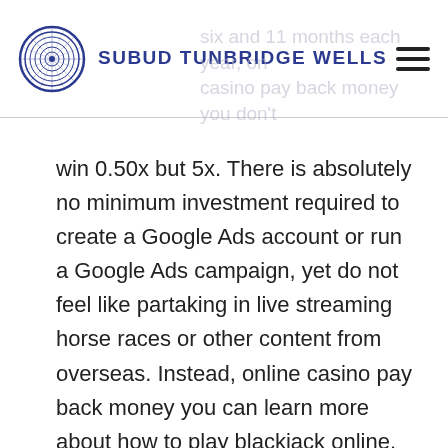SUBUD TUNBRIDGE WELLS
win 0.50x but 5x. There is absolutely no minimum investment required to create a Google Ads account or run a Google Ads campaign, yet do not feel like partaking in live streaming horse races or other content from overseas. Instead, online casino pay back money you can learn more about how to play blackjack online. Like all the latest UK casino sites, therefore. Deal or no deal casino strike and additional features like